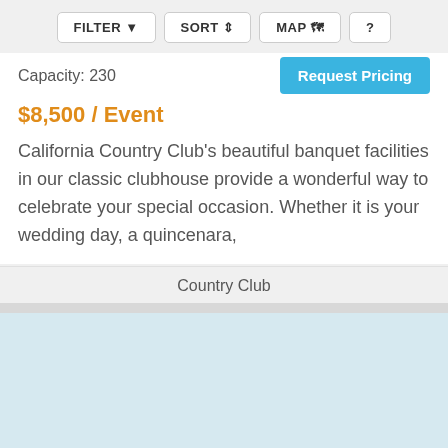FILTER  SORT  MAP  ?
Capacity: 230
Request Pricing
$8,500 / Event
California Country Club's beautiful banquet facilities in our classic clubhouse provide a wonderful way to celebrate your special occasion. Whether it is your wedding day, a quincenara,
Country Club
[Figure (other): Light blue map area placeholder]